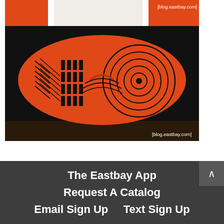[Figure (photo): Close-up photo of the orange sole/bottom of a Nike Air Jordan sneaker against a dark background, with [blog.eastbay.com] watermark visible at top right and bottom right]
The Eastbay App
Request A Catalog
Email Sign Up    Text Sign Up
f  ✓  G+  Instagram  RSS
@2020 Eastbay.